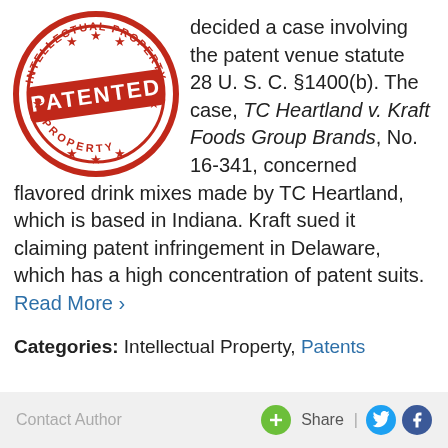[Figure (illustration): Red circular 'INTELLECTUAL PROPERTY PATENTED' stamp with stars and banner]
decided a case involving the patent venue statute 28 U. S. C. §1400(b). The case, TC Heartland v. Kraft Foods Group Brands, No. 16-341, concerned flavored drink mixes made by TC Heartland, which is based in Indiana. Kraft sued it claiming patent infringement in Delaware, which has a high concentration of patent suits. Read More ›
Categories: Intellectual Property, Patents
Contact Author   Share | [Twitter] [Facebook]